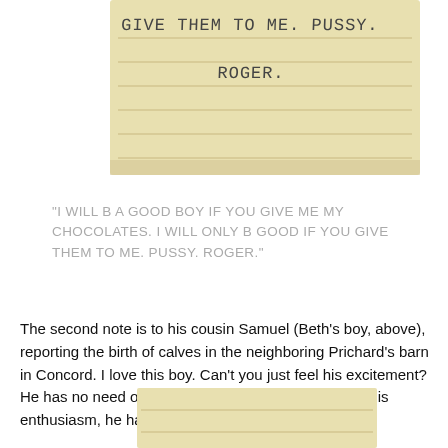[Figure (photo): Photograph of a handwritten note on lined yellow paper reading: GIVE THEM TO ME. PUSSY. ROGER.]
"I WILL B A GOOD BOY IF YOU GIVE ME MY CHOCOLATES. I WILL ONLY B GOOD IF YOU GIVE THEM TO ME. PUSSY. ROGER."
The second note is to his cousin Samuel (Beth's boy, above), reporting the birth of calves in the neighboring Prichard's barn in Concord. I love this boy. Can't you just feel his excitement? He has no need of mere exclamation points to show his enthusiasm, he has BLOCK LETTERS.
[Figure (photo): Partial photograph of a handwritten note on yellow paper, bottom portion visible.]